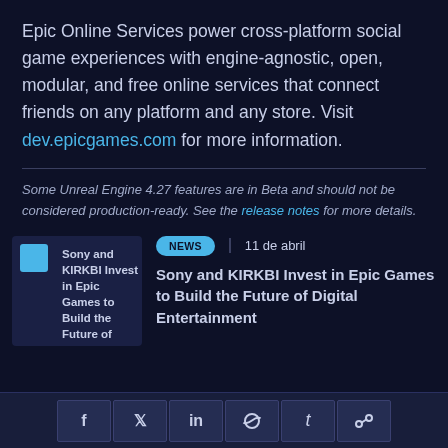Epic Online Services power cross-platform social game experiences with engine-agnostic, open, modular, and free online services that connect friends on any platform and any store. Visit dev.epicgames.com for more information.
Some Unreal Engine 4.27 features are in Beta and should not be considered production-ready. See the release notes for more details.
[Figure (screenshot): Thumbnail image for Sony and KIRKBI Invest in Epic Games to Build the Future of Digital Entertainment news article]
NEWS  |  11 de abril
Sony and KIRKBI Invest in Epic Games to Build the Future of Digital Entertainment
Social share buttons: Facebook, Twitter, LinkedIn, Reddit, Tumblr, Link